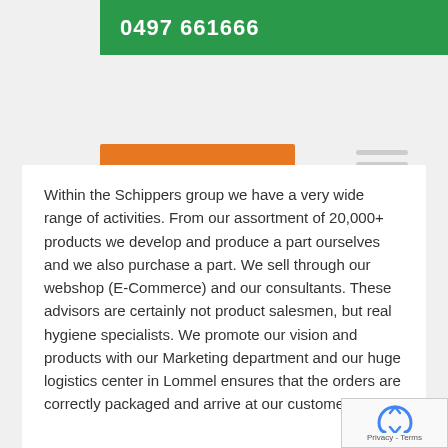0497 661666
Apply now /span>
Within the Schippers group we have a very wide range of activities. From our assortment of 20,000+ products we develop and produce a part ourselves and we also purchase a part. We sell through our webshop (E-Commerce) and our consultants. These advisors are certainly not product salesmen, but real hygiene specialists. We promote our vision and products with our Marketing department and our huge logistics center in Lommel ensures that the orders are correctly packaged and arrive at our customers. Of course we do a lot for...